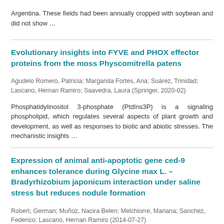Argentina. These fields had been annually cropped with soybean and did not show …
Evolutionary insights into FYVE and PHOX effector proteins from the moss Physcomitrella patens
Agudelo Romero, Patricia; Margarida Fortes, Ana; Suárez, Trinidad; Lascano, Hernan Ramiro; Saavedra, Laura (Springer, 2020-02)
Phosphatidylinositol 3-phosphate (PtdIns3P) is a signaling phospholipid, which regulates several aspects of plant growth and development, as well as responses to biotic and abiotic stresses. The mechanistic insights …
Expression of animal anti-apoptotic gene ced-9 enhances tolerance during Glycine max L. – Bradyrhizobium japonicum interaction under saline stress but reduces nodule formation
Robert, German; Muñoz, Nacira Belen; Melchiorre, Mariana; Sanchez, Federico; Lascano, Hernan Ramiro (2014-07-27)